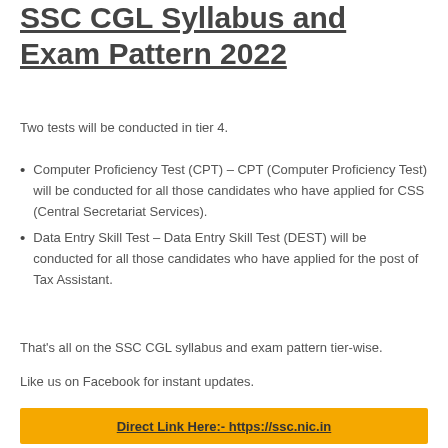SSC CGL Syllabus and Exam Pattern 2022
Two tests will be conducted in tier 4.
Computer Proficiency Test (CPT) – CPT (Computer Proficiency Test) will be conducted for all those candidates who have applied for CSS (Central Secretariat Services).
Data Entry Skill Test – Data Entry Skill Test (DEST) will be conducted for all those candidates who have applied for the post of Tax Assistant.
That's all on the SSC CGL syllabus and exam pattern tier-wise.
Like us on Facebook for instant updates.
Direct Link Here:- https://ssc.nic.in